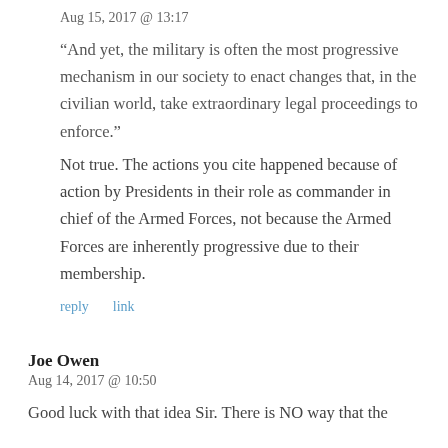Aug 15, 2017 @ 13:17
“And yet, the military is often the most progressive mechanism in our society to enact changes that, in the civilian world, take extraordinary legal proceedings to enforce.”
Not true. The actions you cite happened because of action by Presidents in their role as commander in chief of the Armed Forces, not because the Armed Forces are inherently progressive due to their membership.
reply   link
Joe Owen
Aug 14, 2017 @ 10:50
Good luck with that idea Sir. There is NO way that the